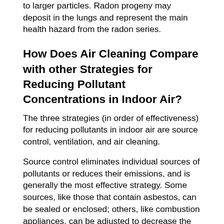to larger particles. Radon progeny may deposit in the lungs and represent the main health hazard from the radon series.
How Does Air Cleaning Compare with other Strategies for Reducing Pollutant Concentrations in Indoor Air?
The three strategies (in order of effectiveness) for reducing pollutants in indoor air are source control, ventilation, and air cleaning.
Source control eliminates individual sources of pollutants or reduces their emissions, and is generally the most effective strategy. Some sources, like those that contain asbestos, can be sealed or enclosed; others, like combustion appliances, can be adjusted to decrease the amount of emissions. Unfortunately, not all pollutant sources can be identified and practically eliminated or reduced.
Ventilation brings outside air indoors. It can be achieved by opening windows and doors, by turning on local bathroom or kitchen exhaust fans, or, in some situations,